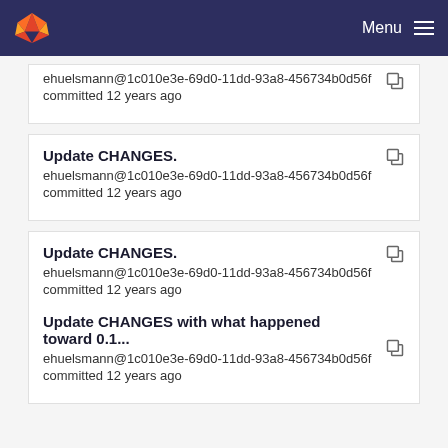Menu
ehuelsmann@1c010e3e-69d0-11dd-93a8-456734b0d56f committed 12 years ago
Update CHANGES. ehuelsmann@1c010e3e-69d0-11dd-93a8-456734b0d56f committed 12 years ago
Update CHANGES. ehuelsmann@1c010e3e-69d0-11dd-93a8-456734b0d56f committed 12 years ago
Update CHANGES with what happened toward 0.1... ehuelsmann@1c010e3e-69d0-11dd-93a8-456734b0d56f committed 12 years ago